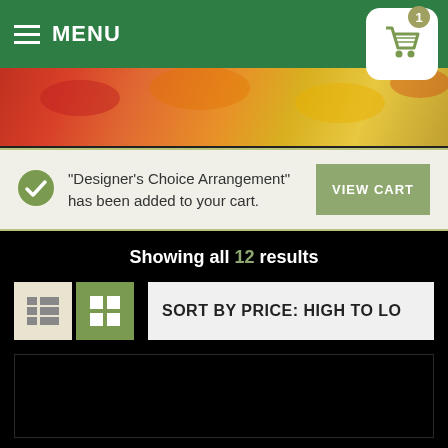MENU
[Figure (photo): Colorful flower arrangement hero image strip]
“Designer’s Choice Arrangement” has been added to your cart.
VIEW CART
Showing all 12 results
SORT BY PRICE: HIGH TO LO